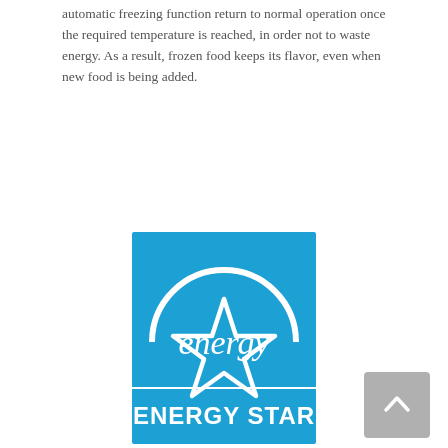automatic freezing function return to normal operation once the required temperature is reached, in order not to waste energy. As a result, frozen food keeps its flavor, even when new food is being added.
[Figure (logo): ENERGY STAR logo — blue square with white semicircle arch at top, white star, white script text 'energy' and block text 'ENERGY STAR']